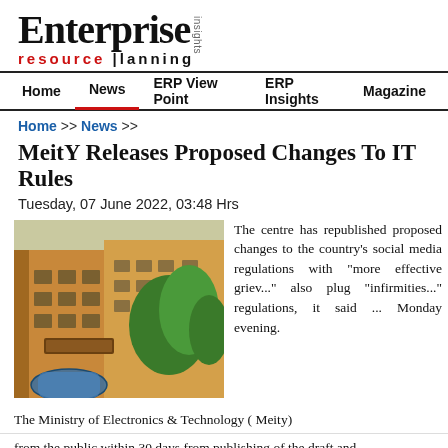[Figure (logo): Enterprise Resource Planning Insights logo — 'Enterprise' in large serif bold black, 'resource planning' in red/black bold sans-serif below, 'Insights' in small vertical text]
Home   News   ERP View Point   ERP Insights   Magazine
Home >> News >>
MeitY Releases Proposed Changes To IT Rules
Tuesday, 07 June 2022, 03:48 Hrs
[Figure (photo): Photograph of a government building — a multi-storey yellow/ochre building with windows, a modern blue glass canopy entrance, surrounded by green trees]
The centre has republished proposed changes to the country's social media regulations with "more effective griev..." also plug "infirmities..." regulations, it said ... Monday evening.
The Ministry of Electronics & Technology ( Meity) ... from the public within 30 days from publishing of the draft and...